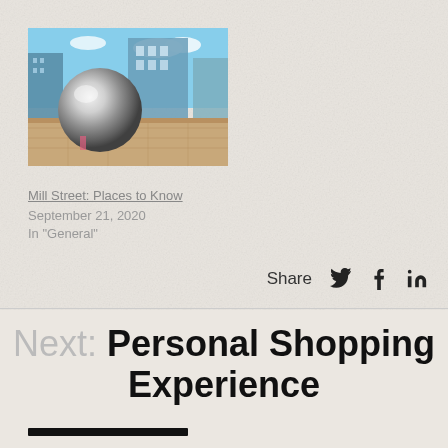[Figure (photo): Urban outdoor scene with a large reflective chrome sphere sculpture in front of modern glass buildings, with a paved plaza and blue sky.]
Mill Street: Places to Know
September 21, 2020
In "General"
Share
Next: Personal Shopping Experience